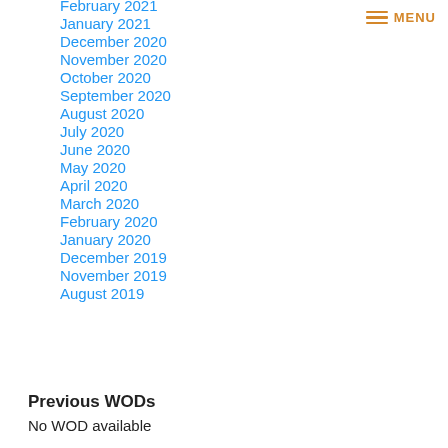MENU
February 2021
January 2021
December 2020
November 2020
October 2020
September 2020
August 2020
July 2020
June 2020
May 2020
April 2020
March 2020
February 2020
January 2020
December 2019
November 2019
August 2019
Previous WODs
No WOD available